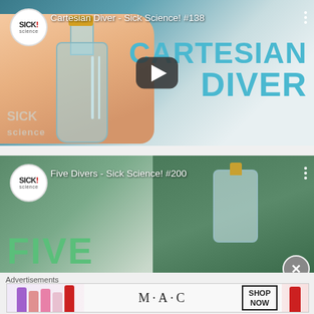[Figure (screenshot): YouTube video thumbnail for 'Cartesian Diver - Sick Science! #138' showing hands holding a water bottle with pipettes, text overlay reading CARTESIAN DIVER in teal, play button in center, Sick Science logo top left]
[Figure (screenshot): YouTube video thumbnail for 'Five Divers - Sick Science! #200' showing hand holding a bottle, text overlay reading FIVE in green, Sick Science logo top left, close X button bottom right]
Advertisements
[Figure (photo): MAC Cosmetics advertisement banner showing colorful lipsticks on left, MAC logo in center, SHOP NOW button in black border box, red lipstick on right]